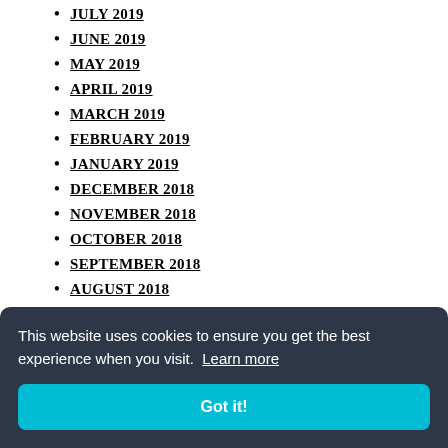JULY 2019
JUNE 2019
MAY 2019
APRIL 2019
MARCH 2019
FEBRUARY 2019
JANUARY 2019
DECEMBER 2018
NOVEMBER 2018
OCTOBER 2018
SEPTEMBER 2018
AUGUST 2018
JULY 2018
JUNE 2018
This website uses cookies to ensure you get the best experience when you visit. Learn more
Got it!
OCTOBER 2017